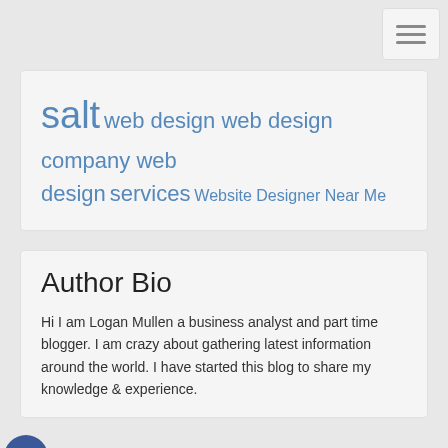[Figure (other): Hamburger menu icon button in top right corner]
salt web design web design company web design services Website Designer Near Me
Author Bio
Hi I am Logan Mullen a business analyst and part time blogger. I am crazy about gathering latest information around the world. I have started this blog to share my knowledge & experience.
[Figure (other): Social share icons: Facebook, Google+, Twitter, Add (plus)]